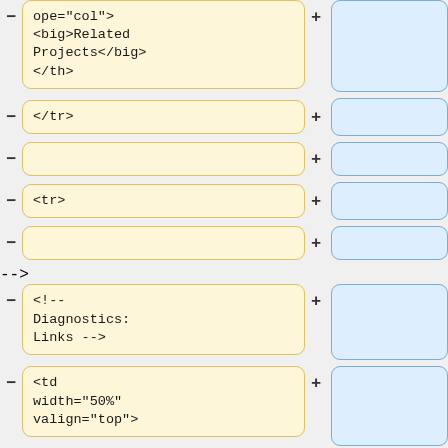ope="col"> <big>Related Projects</big> </th>
</tr>
<tr>
<!-- Diagnostics: Links -->
<td width="50%" valign="top">
* [http://acmg.seas.harvard.edu/geos/geos_benc